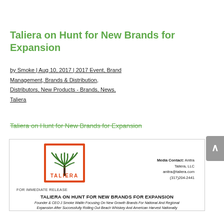Taliera on Hunt for New Brands for Expansion
by Smoke | Aug 10, 2017 | 2017 Event, Brand Management, Brands & Distribution, Distributors, New Products - Brands, News, Taliera
Taliera on Hunt for New Brands for Expansion
[Figure (logo): Taliera logo: red/orange square border with a green palm tree and 'TALIERA' text]
Media Contact: Anitra Taliera, LLC anitra@taliera.com (317)204-2441
FOR IMMEDIATE RELEASE
TALIERA ON HUNT FOR NEW BRANDS FOR EXPANSION
Founder & CEO J Smoke Wallin Focusing On New Growth Brands For National And Regional Expansion After Successfully Rolling Out Beach Whiskey And American Harvest Nationally